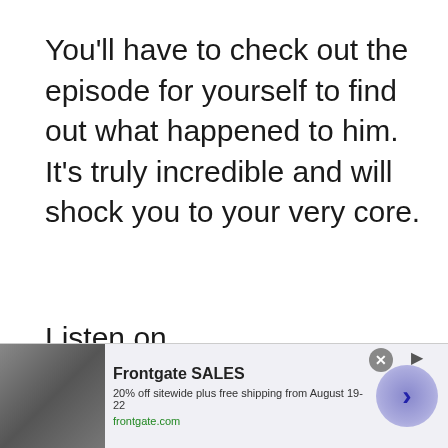You'll have to check out the episode for yourself to find out what happened to him. It's truly incredible and will shock you to your very core.
Listen on anatomyofmurder.com.
Justis Bondye
[Figure (other): Frontgate SALES advertisement banner: outdoor furniture image on left, text '20% off sitewide plus free shipping from August 19-22, frontgate.com', circular arrow button on right, close button (X) at top right.]